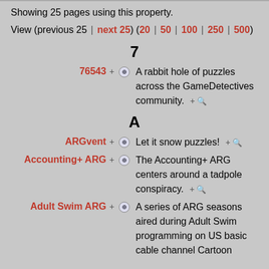Showing 25 pages using this property.
View (previous 25 | next 25) (20 | 50 | 100 | 250 | 500)
7
76543 + ⊕  A rabbit hole of puzzles across the GameDetectives community. +🔍
A
ARGvent + ⊕  Let it snow puzzles! +🔍
Accounting+ ARG + ⊕  The Accounting+ ARG centers around a tadpole conspiracy. +🔍
Adult Swim ARG + ⊕  A series of ARG seasons aired during Adult Swim programming on US basic cable channel Cartoon